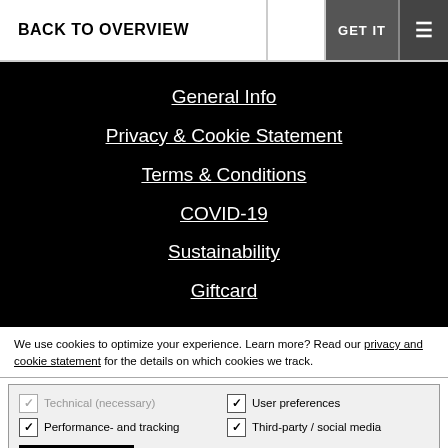BACK TO OVERVIEW | GET IT ≡
General Info
Privacy & Cookie Statement
Terms & Conditions
COVID-19
Sustainability
Giftcard
We use cookies to optimize your experience. Learn more? Read our privacy and cookie statement for the details on which cookies we track.
Technical (necessary) | User preferences | Performance- and tracking | Third-party / social media | OK